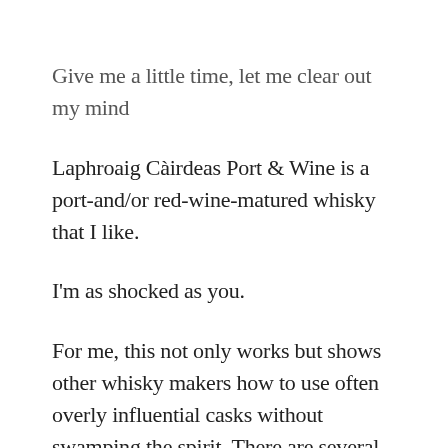Give me a little time, let me clear out my mind
Laphroaig Càirdeas Port & Wine is a port-and/or red-wine-matured whisky that I like.
I'm as shocked as you.
For me, this not only works but shows other whisky makers how to use often overly influential casks without swamping the spirit. There are several parts to this: